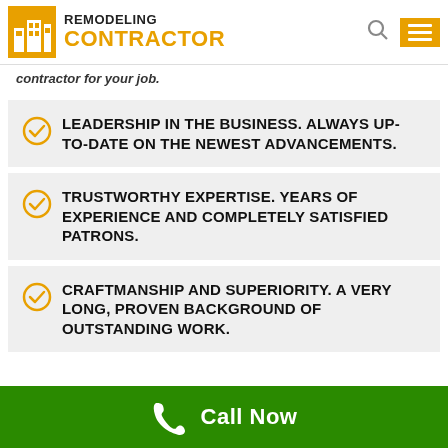[Figure (logo): Remodeling Contractor logo with orange building icon and text]
contractor for your job.
LEADERSHIP IN THE BUSINESS. ALWAYS UP-TO-DATE ON THE NEWEST ADVANCEMENTS.
TRUSTWORTHY EXPERTISE. YEARS OF EXPERIENCE AND COMPLETELY SATISFIED PATRONS.
CRAFTMANSHIP AND SUPERIORITY. A VERY LONG, PROVEN BACKGROUND OF OUTSTANDING WORK.
Call Now